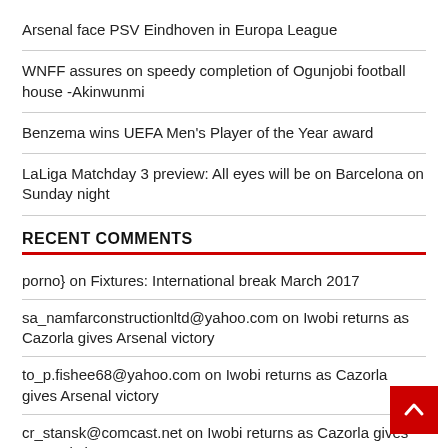Arsenal face PSV Eindhoven in Europa League
WNFF assures on speedy completion of Ogunjobi football house -Akinwunmi
Benzema wins UEFA Men's Player of the Year award
LaLiga Matchday 3 preview: All eyes will be on Barcelona on Sunday night
RECENT COMMENTS
porno} on Fixtures: International break March 2017
sa_namfarconstructionltd@yahoo.com on Iwobi returns as Cazorla gives Arsenal victory
to_p.fishee68@yahoo.com on Iwobi returns as Cazorla gives Arsenal victory
cr_stansk@comcast.net on Iwobi returns as Cazorla gives Arsenal victory